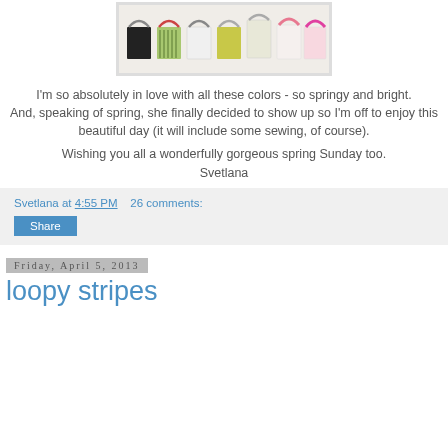[Figure (photo): A row of colorful basket illustrations on a light background, showing baskets in black, green, white, yellow, and pink colors with handles]
I'm so absolutely in love with all these colors - so springy and bright.
And, speaking of spring, she finally decided to show up so I'm off to enjoy this beautiful day (it will include some sewing, of course).
Wishing you all a wonderfully gorgeous spring Sunday too.
Svetlana
Svetlana at 4:55 PM   26 comments:
Share
Friday, April 5, 2013
loopy stripes